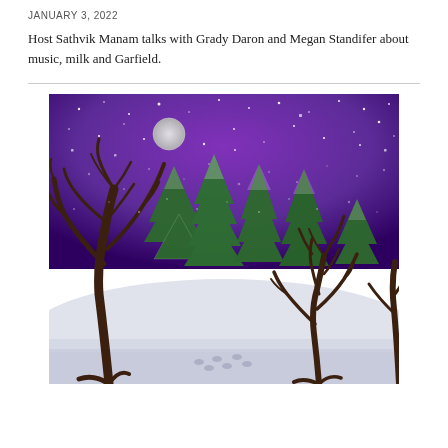JANUARY 3, 2022
Host Sathvik Manam talks with Grady Daron and Megan Standifer about music, milk and Garfield.
[Figure (illustration): A digital illustration of a winter night forest scene with dark bare trees on the left and right, snow-covered green pine/fir trees in the background, a purple starry sky with a full moon, and footprints in the snow in the foreground.]